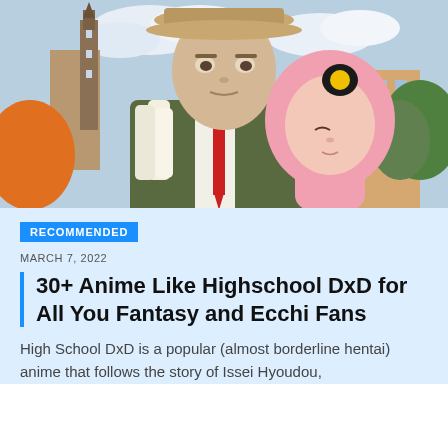[Figure (illustration): Anime illustration showing a tall male character in a suit and fedora hat holding rolled papers, with a pink-haired girl leaning against him. Background shows a European-style city street with a tower and buildings.]
RECOMMENDED
MARCH 7, 2022
30+ Anime Like Highschool DxD for All You Fantasy and Ecchi Fans
High School DxD is a popular (almost borderline hentai) anime that follows the story of Issei Hyoudou,